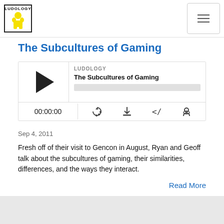[Figure (logo): Ludology logo: black bordered box with 'LUDOLOGY' text and yellow meeple figure]
The Subcultures of Gaming
[Figure (screenshot): Podcast audio player widget showing LUDOLOGY branding, episode title 'The Subcultures of Gaming', a play button, progress bar, time display 00:00:00, and control icons for subscribe, download, embed, and share]
Sep 4, 2011
Fresh off of their visit to Gencon in August, Ryan and Geoff talk about the subcultures of gaming, their similarities, differences, and the ways they interact.
Read More